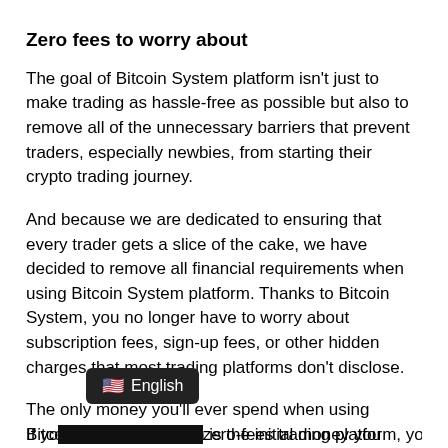Zero fees to worry about
The goal of Bitcoin System platform isn't just to make trading as hassle-free as possible but also to remove all of the unnecessary barriers that prevent traders, especially newbies, from starting their crypto trading journey.
And because we are dedicated to ensuring that every trader gets a slice of the cake, we have decided to remove all financial requirements when using Bitcoin System platform. Thanks to Bitcoin System, you no longer have to worry about subscription fees, sign-up fees, or other hidden charges that most trading platforms don't disclose.
The only money you'll ever spend when using Bitcoin System platform is the initial money you deposit to fund your trading account.
[Figure (screenshot): Language selector bar showing US flag emoji and 'English' text on dark background]
If yo[u use this] zero-fees trading platform, you'll not be[...]